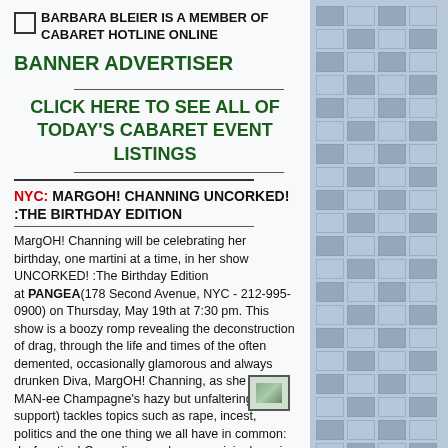BARBARA BLEIER IS A MEMBER OF CABARET HOTLINE ONLINE
BANNER ADVERTISER
CLICK HERE TO SEE ALL OF TODAY'S CABARET EVENT LISTINGS
NYC: MARGOH! CHANNING UNCORKED! :THE BIRTHDAY EDITION
MargOH! Channing will be celebrating her birthday, one martini at a time, in her show UNCORKED! :The Birthday Edition at PANGEA (178 Second Avenue, NYC - 212-995-0900) on Thursday, May 19th at 7:30 pm. This show is a boozy romp revealing the deconstruction of drag, through the life and times of the often demented, occasionally glamorous and always drunken Diva, MargOH! Channing, as she (with MAN-ee Champagne's hazy but unfaltering support) tackles topics such as rape, incest, politics and the one thing we all have in common: dysfunction! Comedic monologues, original music and